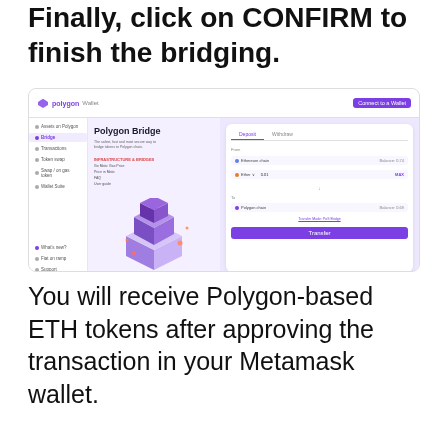Finally, click on CONFIRM to finish the bridging.
[Figure (screenshot): Screenshot of the Polygon Wallet Bridge interface showing the Polygon Bridge page with a form to deposit/withdraw tokens from Ethereum to Polygon network, with a 3D illustration of stacked blocks and a Transfer button.]
You will receive Polygon-based ETH tokens after approving the transaction in your Metamask wallet.